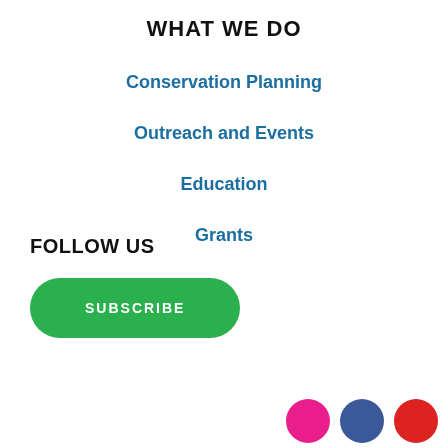WHAT WE DO
Conservation Planning
Outreach and Events
Education
Grants
FOLLOW US
SUBSCRIBE
[Figure (illustration): Three social media icon circles: pink (Instagram), blue (Facebook), red (YouTube/other), partially visible at bottom right]